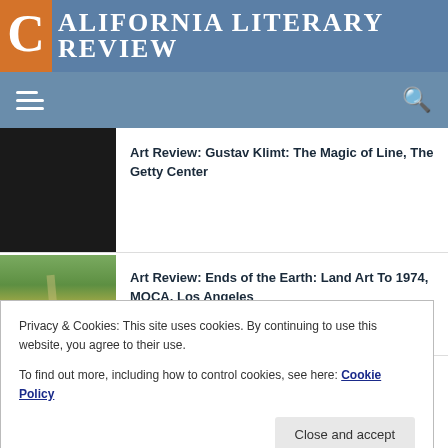California Literary Review
Art Review: Gustav Klimt: The Magic of Line, The Getty Center
Art Review: Ends of the Earth: Land Art To 1974, MOCA, Los Angeles
Privacy & Cookies: This site uses cookies. By continuing to use this website, you agree to their use.
To find out more, including how to control cookies, see here: Cookie Policy
Close and accept